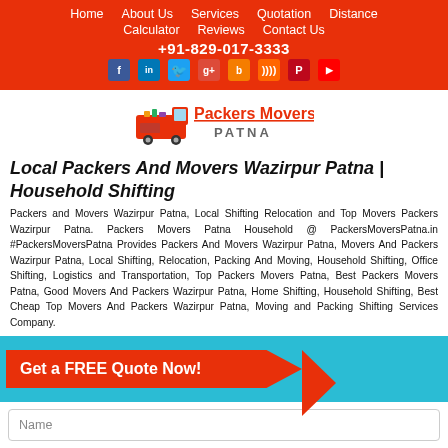Home | About Us | Services | Quotation | Distance Calculator | Reviews | Contact Us | +91-829-017-3333
[Figure (logo): Packers Movers Patna logo with red truck icon and text 'Packers Movers PATNA']
Local Packers And Movers Wazirpur Patna | Household Shifting
Packers and Movers Wazirpur Patna, Local Shifting Relocation and Top Movers Packers Wazirpur Patna. Packers Movers Patna Household @ PackersMoversPatna.in #PackersMoversPatna Provides Packers And Movers Wazirpur Patna, Movers And Packers Wazirpur Patna, Local Shifting, Relocation, Packing And Moving, Household Shifting, Office Shifting, Logistics and Transportation, Top Packers Movers Patna, Best Packers Movers Patna, Good Movers And Packers Wazirpur Patna, Home Shifting, Household Shifting, Best Cheap Top Movers And Packers Wazirpur Patna, Moving and Packing Shifting Services Company.
[Figure (infographic): Get a FREE Quote Now! button on teal background with red arrow shape]
Name